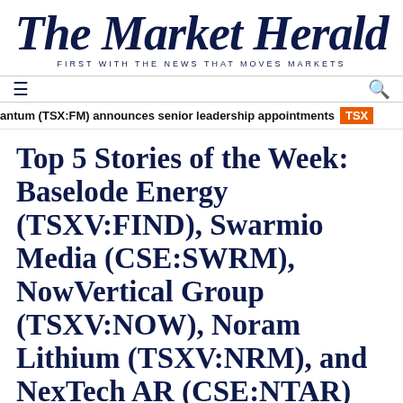The Market Herald
FIRST WITH THE NEWS THAT MOVES MARKETS
≡   🔍
antum (TSX:FM) announces senior leadership appointments TSX
Top 5 Stories of the Week: Baselode Energy (TSXV:FIND), Swarmio Media (CSE:SWRM), NowVertical Group (TSXV:NOW), Noram Lithium (TSXV:NRM), and NexTech AR (CSE:NTAR)
Weekly Market Movers